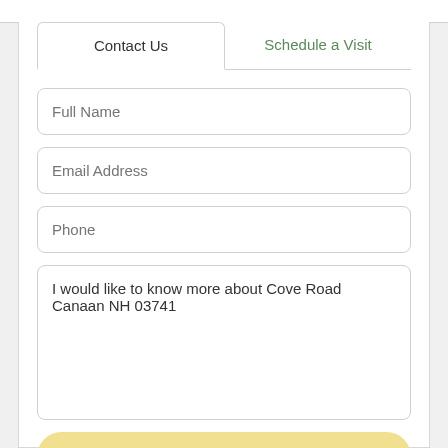Contact Us
Schedule a Visit
Full Name
Email Address
Phone
I would like to know more about Cove Road Canaan NH 03741
SEND